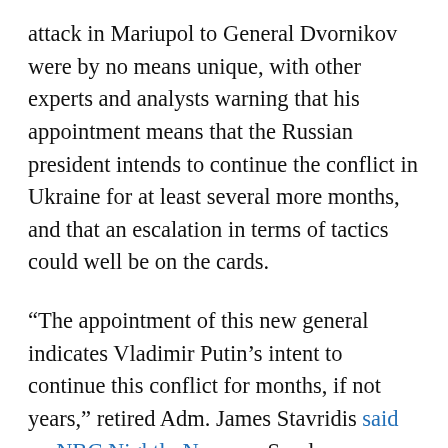attack in Mariupol to General Dvornikov were by no means unique, with other experts and analysts warning that his appointment means that the Russian president intends to continue the conflict in Ukraine for at least several more months, and that an escalation in terms of tactics could well be on the cards.
“The appointment of this new general indicates Vladimir Putin’s intent to continue this conflict for months, if not years,” retired Adm. James Stavridis said on NBC Nightly News on Sunday.
Stavridis also warned that Dvornikov has